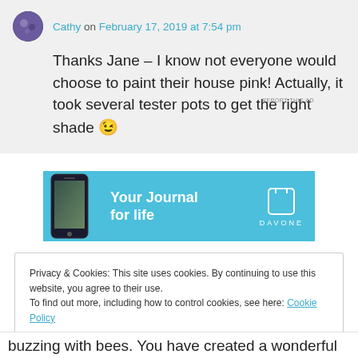Cathy on February 17, 2019 at 7:54 pm
Thanks Jane – I know not everyone would choose to paint their house pink! Actually, it took several tester pots to get the right shade 😉
[Figure (infographic): Advertisement banner for Day One journal app with blue background, phone illustration, text 'Your Journal for life' and Day One logo]
Privacy & Cookies: This site uses cookies. By continuing to use this website, you agree to their use. To find out more, including how to control cookies, see here: Cookie Policy
Close and accept
buzzing with bees. You have created a wonderful